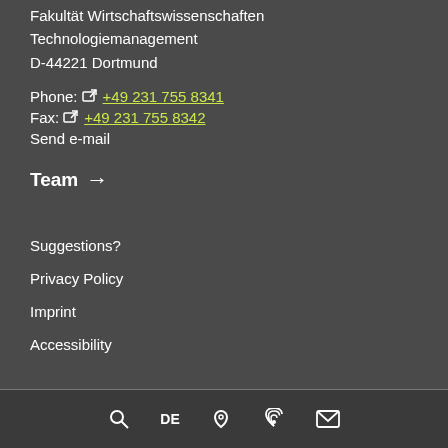Fakultät Wirtschaftswissenschaften Technologiemanagement D-44221 Dortmund
Phone: +49 231 755 8341
Fax: +49 231 755 8342
Send e-mail
Team →
Suggestions?
Privacy Policy
Imprint
Accessibility
DE | icons: search, location, antenna, mail